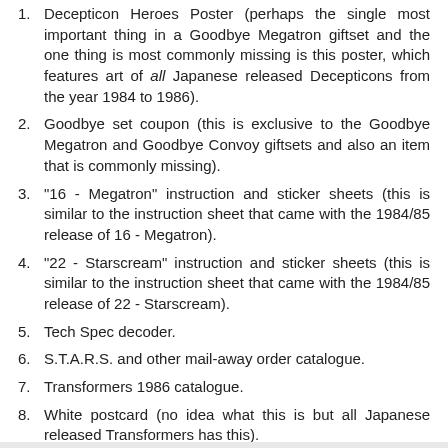1. Decepticon Heroes Poster (perhaps the single most important thing in a Goodbye Megatron giftset and the one thing is most commonly missing is this poster, which features art of all Japanese released Decepticons from the year 1984 to 1986).
2. Goodbye set coupon (this is exclusive to the Goodbye Megatron and Goodbye Convoy giftsets and also an item that is commonly missing).
3. "16 - Megatron" instruction and sticker sheets (this is similar to the instruction sheet that came with the 1984/85 release of 16 - Megatron).
4. "22 - Starscream" instruction and sticker sheets (this is similar to the instruction sheet that came with the 1984/85 release of 22 - Starscream).
5. Tech Spec decoder.
6. S.T.A.R.S. and other mail-away order catalogue.
7. Transformers 1986 catalogue.
8. White postcard (no idea what this is but all Japanese released Transformers has this).
Photo showing paperworks items 1, 3, 4, 5 and 6.